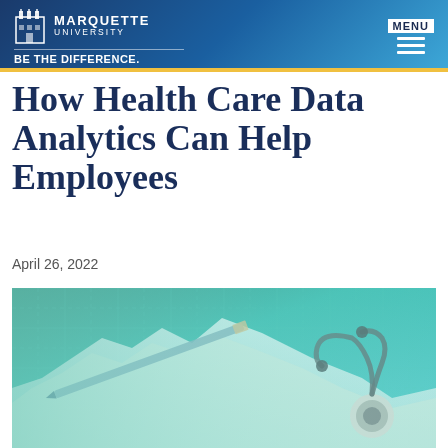Marquette University — BE THE DIFFERENCE. | MENU
How Health Care Data Analytics Can Help Employees
April 26, 2022
[Figure (photo): Close-up photo of a stethoscope and a pen resting on medical or financial chart papers with a teal/green grid background, conveying health care data analytics theme.]